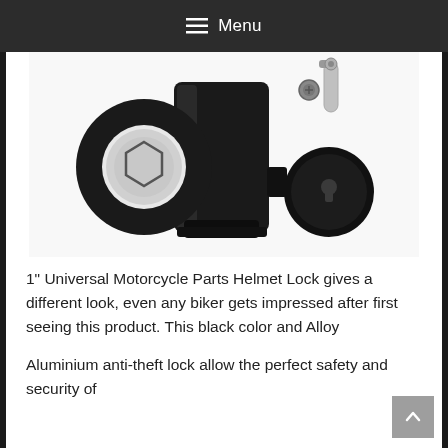Menu
[Figure (photo): Black 1-inch universal motorcycle helmet lock — a black alloy anti-theft lock with a circular clamp on the left, a rectangular body in the center, and a cylindrical lock core on the right with a silver shackle at the top.]
1" Universal Motorcycle Parts Helmet Lock gives a different look, even any biker gets impressed after first seeing this product. This black color and Alloy
Aluminium anti-theft lock allow the perfect safety and security of